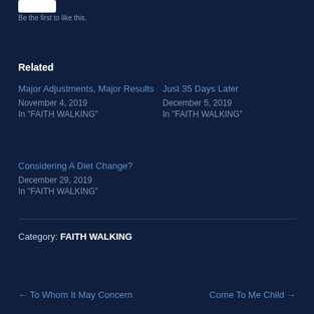Be the first to like this.
Related
Major Adjustments, Major Results
November 4, 2019
In "FAITH WALKING"
Just 35 Days Later
December 5, 2019
In "FAITH WALKING"
Considering A Diet Change?
December 29, 2019
In "FAITH WALKING"
Category: FAITH WALKING
← To Whom It May Concern    Come To Me Child →